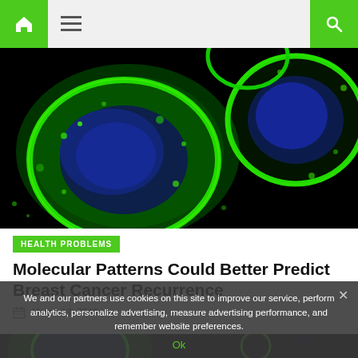Navigation bar with home icon, menu icon, and search icon
[Figure (photo): Fluorescence microscopy image of cancer cells glowing green and blue against a black background]
HEALTH PROBLEMS
Molecular Patterns Could Better Predict Breast Cancer Recurrence
March 13, 2019
[Figure (photo): Second fluorescence microscopy image of cancer cells, partially visible at bottom of page]
We and our partners use cookies on this site to improve our service, perform analytics, personalize advertising, measure advertising performance, and remember website preferences.